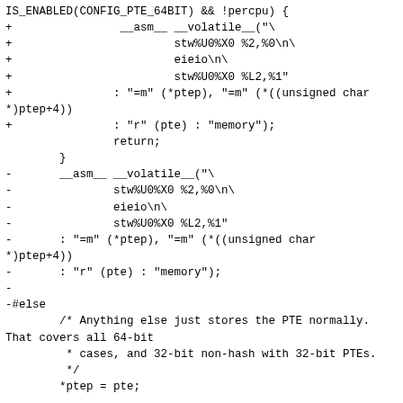IS_ENABLED(CONFIG_PTE_64BIT) && !percpu) {
+                __asm__ __volatile__("\n+                        stw%U0%X0 %2,%0\n\
+                        eieio\n\
+                        stw%U0%X0 %L2,%1"
+               : "=m" (*ptep), "=m" (*((unsigned char *)ptep+4))
+               : "r" (pte) : "memory");
                return;
        }
-       __asm__ __volatile__("\n-               stw%U0%X0 %2,%0\n\
-               eieio\n\
-               stw%U0%X0 %L2,%1"
-       : "=m" (*ptep), "=m" (*((unsigned char *)ptep+4))
-       : "r" (pte) : "memory");
-
-#else
        /* Anything else just stores the PTE normally. That covers all 64-bit
         * cases, and 32-bit non-hash with 32-bit PTEs.
         */
        *ptep = pte;

-#ifdef CONFIG_PPC_BOOK3E_64
        /*
         * With hardware tablewalk, a sync is needed to ensure that
         * subsequent accesses see the PTE we just